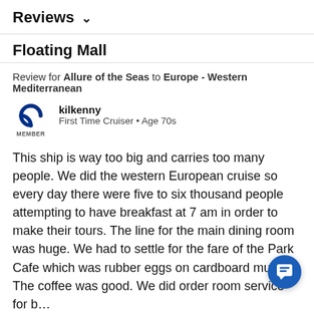Reviews ∨
Floating Mall
Review for Allure of the Seas to Europe - Western Mediterranean
kilkenny
First Time Cruiser • Age 70s
This ship is way too big and carries too many people. We did the western European cruise so every day there were five to six thousand people attempting to have breakfast at 7 am in order to make their tours. The line for the main dining room was huge. We had to settle for the fare of the Park Cafe which was rubber eggs on cardboard muffi… The coffee was good. We did order room service for b…
Read More
Sail Date: October 2015